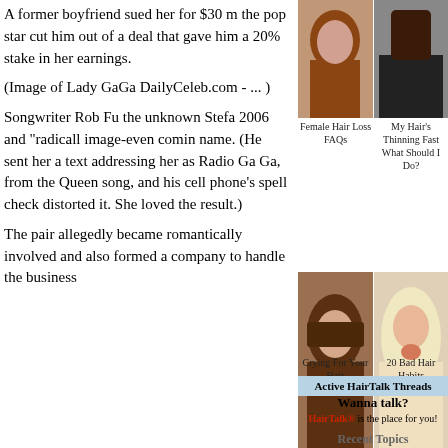A former boyfriend sued her for $30 m the pop star cut him out of a deal that gave him a 20% stake in her earnings.
[Figure (photo): Photo of a woman with long reddish-brown hair]
[Figure (photo): Photo of a woman with long dark hair on right side]
Female Hair Loss FAQs
My Hair's Thinning Fast What Should I Do?
(Image of Lady GaGa DailyCeleb.com - ... )
[Figure (photo): Photo of a woman with brown layered hair and bangs]
[Figure (photo): Photo of a blonde woman with glittery eye makeup]
Songwriter Rob Fu the unknown Stefa 2006 and "radicall image-even comin name. (He sent her a text addressing her as Radio Ga Ga, from the Queen song, and his cell phone's spell check distorted it. She loved the result.)
Crying For Your Hair
20 Bad Hair Habits
Active HairTalk Threads
Wanna talk?
HairTalk® is the place for you!
Recent Topics
The pair allegedly became romantically involved and also formed a company to handle the business